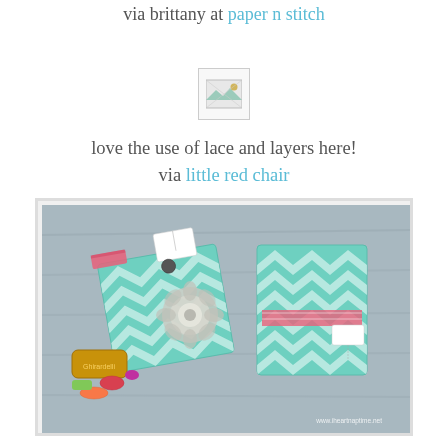via brittany at paper n stitch
[Figure (photo): Broken/missing image placeholder icon]
love the use of lace and layers here!
via little red chair
[Figure (photo): Photo of mint chevron swag bags with business cards, candy, and washi tape on a wooden surface. Watermark reads www.iheartnaptime.net]
little swag bag business cards
via i heart naptime
[Figure (photo): Broken/missing image placeholder icon]
Amazing die-cut card.